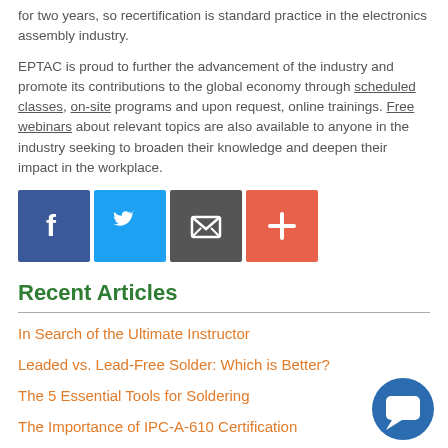for two years, so recertification is standard practice in the electronics assembly industry.
EPTAC is proud to further the advancement of the industry and promote its contributions to the global economy through scheduled classes, on-site programs and upon request, online trainings. Free webinars about relevant topics are also available to anyone in the industry seeking to broaden their knowledge and deepen their impact in the workplace.
[Figure (infographic): Four social media share buttons: Facebook (blue), Twitter (light blue), Email/envelope (dark grey), and a plus/add button (orange-red).]
Recent Articles
In Search of the Ultimate Instructor
Leaded vs. Lead-Free Solder: Which is Better?
The 5 Essential Tools for Soldering
The Importance of IPC-A-610 Certification